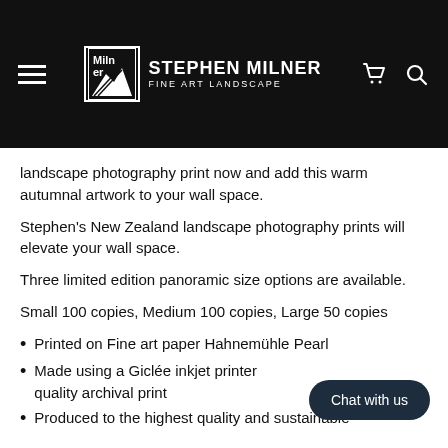[Figure (screenshot): Website header with hamburger menu, Stephen Milner Fine Art Landscape logo, cart icon, and search icon on dark background]
landscape photography print now and add this warm autumnal artwork to your wall space.
Stephen's New Zealand landscape photography prints will elevate your wall space.
Three limited edition panoramic size options are available.
Small 100 copies, Medium 100 copies, Large 50 copies
Printed on Fine art paper Hahnemühle Pearl
Made using a Giclée inkjet printer quality archival print
Produced to the highest quality and sustainable